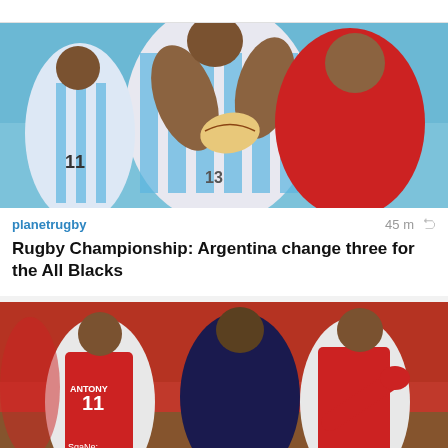[Figure (photo): Rugby match action photo: Argentina player in light blue and white striped jersey holding a ball being tackled by a player in red jersey]
planetrugby
45 m
Rugby Championship: Argentina change three for the All Blacks
[Figure (photo): Football/soccer match action photo: Players in red and white Ajax jerseys competing, player with ANTONY 11 jersey visible, players also in dark navy jerseys]
TEAMtalk
1 h